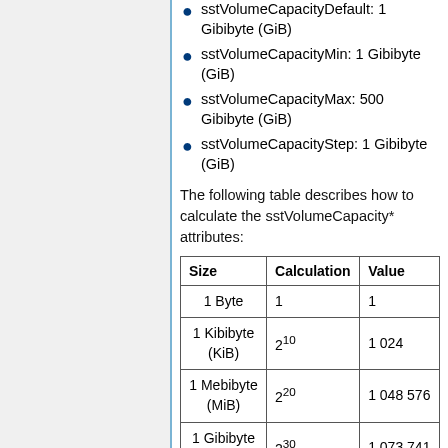sstVolumeCapacityDefault: 1 Gibibyte (GiB)
sstVolumeCapacityMin: 1 Gibibyte (GiB)
sstVolumeCapacityMax: 500 Gibibyte (GiB)
sstVolumeCapacityStep: 1 Gibibyte (GiB)
The following table describes how to calculate the sstVolumeCapacity* attributes:
| Size | Calculation | Value |
| --- | --- | --- |
| 1 Byte | 1 | 1 |
| 1 Kibibyte (KiB) | 2^10 | 1 024 |
| 1 Mebibyte (MiB) | 2^20 | 1 048 576 |
| 1 Gibibyte (GiB) | 2^30 | 1 073 741 |